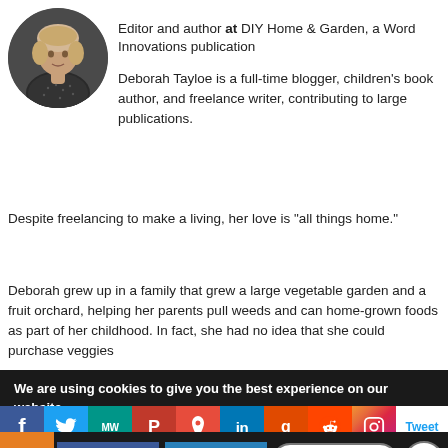[Figure (photo): Circular avatar photo of a woman with short blonde hair wearing a patterned top, against a dark background]
Editor and author at DIY Home & Garden, a Word Innovations publication
Deborah Tayloe is a full-time blogger, children's book author, and freelance writer, contributing to large publications.
Despite freelancing to make a living, her love is "all things home."
Deborah grew up in a family that grew a large vegetable garden and a fruit orchard, helping her parents pull weeds and can home-grown foods as part of her childhood. In fact, she had no idea that she could purchase veggies
We are using cookies to give you the best experience on our website.
You can find out more about which cookies we are using or